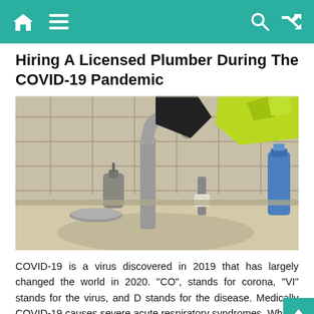Hiring A Licensed Plumber During The COVID-19 Pandemic
Hiring A Licensed Plumber During The COVID-19 Pandemic
[Figure (photo): Close-up photo of a kitchen sink faucet area with gloved hands (black and yellow/green gloves) working on plumbing fixtures, with a backsplash of beige tiles, soap dispensers, dish brush, and a blue cleaning product bottle visible.]
COVID-19 is a virus discovered in 2019 that has largely changed the world in 2020. "CO", stands for corona, "VI" stands for the virus, and D stands for the disease. Medically COVID-19 causes severe acute respiratory syndromes. What